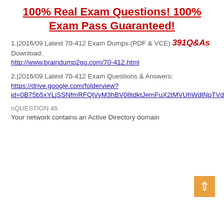100% Real Exam Questions! 100% Exam Pass Guaranteed!
1.|2016/09 Latest 70-412 Exam Dumps (PDF & VCE) 391Q&As Download: http://www.braindump2go.com/70-412.html
2.|2016/09 Latest 70-412 Exam Questions & Answers: https://drive.google.com/folderview?id=0B75b5xYLjSSNfmRFQlVyM3hBV08tdktJemFuX2tMVUhWdlNpTVdkZ3B1X3hEVU5BaEZSZGM&usp=sharing
nQUESTION 46
Your network contains an Active Directory domain